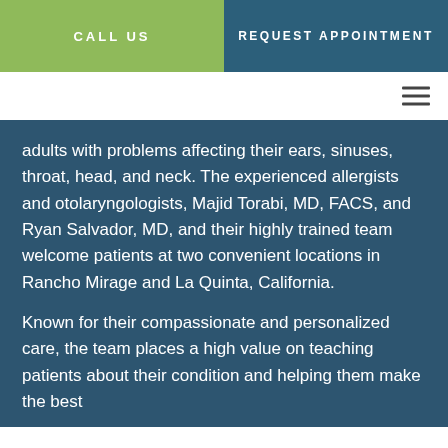CALL US | REQUEST APPOINTMENT
adults with problems affecting their ears, sinuses, throat, head, and neck. The experienced allergists and otolaryngologists, Majid Torabi, MD, FACS, and Ryan Salvador, MD, and their highly trained team welcome patients at two convenient locations in Rancho Mirage and La Quinta, California.
Known for their compassionate and personalized care, the team places a high value on teaching patients about their condition and helping them make the best